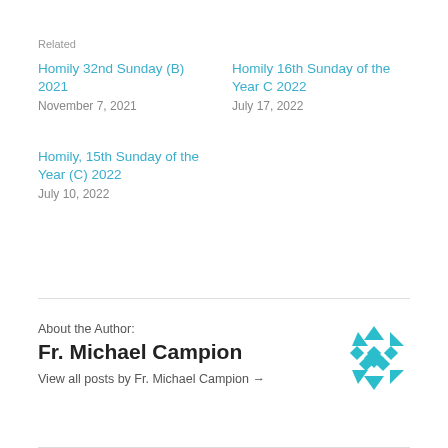Related
Homily 32nd Sunday (B) 2021
November 7, 2021
Homily 16th Sunday of the Year C 2022
July 17, 2022
Homily, 15th Sunday of the Year (C) 2022
July 10, 2022
About the Author:
Fr. Michael Campion
View all posts by Fr. Michael Campion →
[Figure (logo): Decorative teal geometric snowflake/diamond pattern logo]